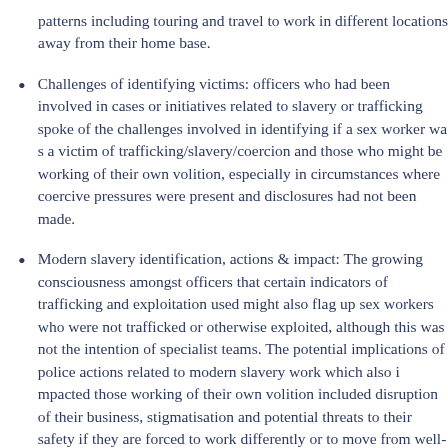patterns including touring and travel to work in different locations away from their home base.
Challenges of identifying victims: officers who had been involved in cases or initiatives related to slavery or trafficking spoke of the challenges involved in identifying if a sex worker was a victim of trafficking/slavery/coercion and those who might be working of their own volition, especially in circumstances where coercive pressures were present and disclosures had not be...
Modern slavery identification, actions & impact: The growing consciousness amongst officers that certain indicators of trafficking and exploitation used might also flag up sex workers who were not trafficked or otherwise exploited, although this was not the intention of specialist teams. The potential implications of police actions related to modern slavery work which also impacted those working of their own volition included disruption of their business, stigmatisation and potential threats to their safety if they are forced to work differently or to move from well-known premises because their privacy has been comprom...